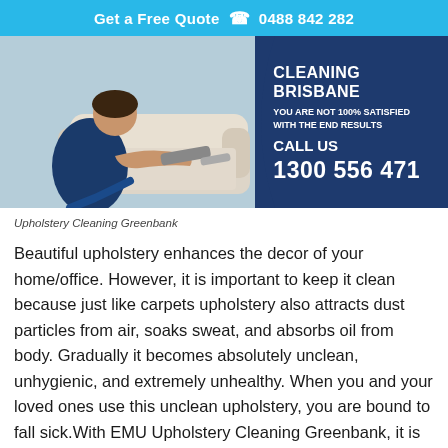Get a Free Quote  ☎ 0488 842 282
[Figure (photo): Photo of a person in dark blue shirt cleaning/vacuuming an upholstered sofa cushion, with a dark blue promotional panel on the right reading: CLEANING BRISBANE / YOU ARE NOT 100% SATISFIED WITH THE END RESULTS / CALL US / 1300 556 471]
Upholstery Cleaning Greenbank
Beautiful upholstery enhances the decor of your home/office. However, it is important to keep it clean because just like carpets upholstery also attracts dust particles from air, soaks sweat, and absorbs oil from body. Gradually it becomes absolutely unclean, unhygienic, and extremely unhealthy. When you and your loved ones use this unclean upholstery, you are bound to fall sick.With EMU Upholstery Cleaning Greenbank, it is easy and affordable to keep your beautiful upholstery clean and bright as new. Call us